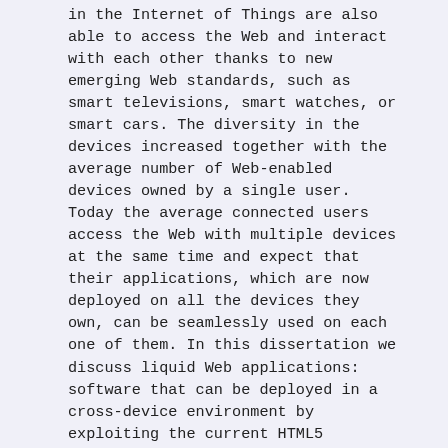in the Internet of Things are also able to access the Web and interact with each other thanks to new emerging Web standards, such as smart televisions, smart watches, or smart cars. The diversity in the devices increased together with the average number of Web-enabled devices owned by a single user. Today the average connected users access the Web with multiple devices at the same time and expect that their applications, which are now deployed on all the devices they own, can be seamlessly used on each one of them. In this dissertation we discuss liquid Web applications: software that can be deployed in a cross-device environment by exploiting the current HTML5 standards. In particular we design